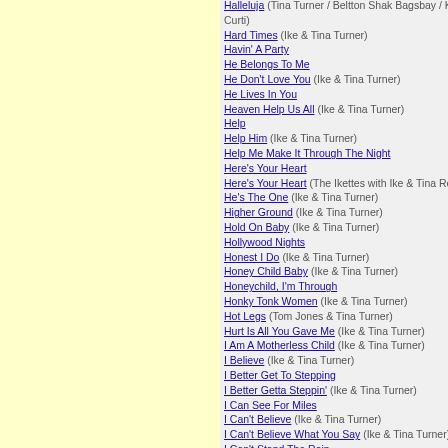Halleluja (Tina Turner / Beltton Shak Bagsbay / K... Curti)
Hard Times (Ike & Tina Turner)
Havin' A Party
He Belongs To Me
He Don't Love You (Ike & Tina Turner)
He Lives In You
Heaven Help Us All (Ike & Tina Turner)
Help
Help Him (Ike & Tina Turner)
Help Me Make It Through The Night
Here's Your Heart
Here's Your Heart (The Ikettes with Ike & Tina Re...)
He's The One (Ike & Tina Turner)
Higher Ground (Ike & Tina Turner)
Hold On Baby (Ike & Tina Turner)
Hollywood Nights
Honest I Do (Ike & Tina Turner)
Honey Child Baby (Ike & Tina Turner)
Honeychild, I'm Through
Honky Tonk Women (Ike & Tina Turner)
Hot Legs (Tom Jones & Tina Turner)
Hurt Is All You Gave Me (Ike & Tina Turner)
I Am A Motherless Child (Ike & Tina Turner)
I Believe (Ike & Tina Turner)
I Better Get To Stepping
I Better Getta Steppin' (Ike & Tina Turner)
I Can See For Miles
I Can't Believe (Ike & Tina Turner)
I Can't Believe What You Say (Ike & Tina Turner)
I Can't Stand The Rain
I Can't Stop Loving You (Ike & Tina Turner)
I Dig You (Ike & Tina Turner)
I Don't Need (Ike & Tina Turner)
I Don't Wanna Fight
I Don't Wanna Lose You
I Got A Man (Ike & Tina Turner)
I Got It Ready For You Baby (Ike & Tina Turner)